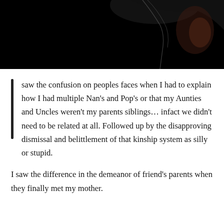[Figure (photo): Dark/black background photo, partially visible silhouette or figure, high contrast image occupying the top portion of the page]
saw the confusion on peoples faces when I had to explain how I had multiple Nan's and Pop's or that my Aunties and Uncles weren't my parents siblings... infact we didn't need to be related at all. Followed up by the disapproving dismissal and belittlement of that kinship system as silly or stupid.
I saw the difference in the demeanor of friend's parents when they finally met my mother.